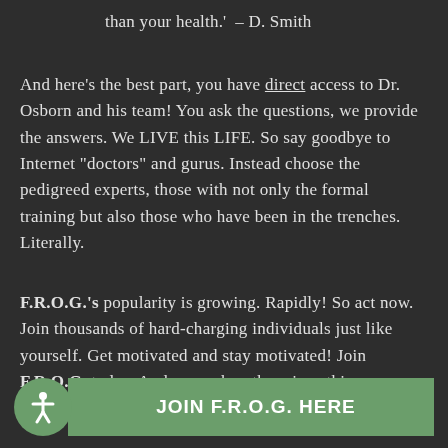than your health.'  – D. Smith
And here's the best part, you have direct access to Dr. Osborn and his team! You ask the questions, we provide the answers. We LIVE this LIFE. So say goodbye to Internet "doctors" and gurus. Instead choose the pedigreed experts, those with not only the formal training but also those who have been in the trenches. Literally.
F.R.O.G.'s popularity is growing. Rapidly! So act now. Join thousands of hard-charging individuals just like yourself. Get motivated and stay motivated! Join F.R.O.G. today. And remember, there is nothing more important than your health.
JOIN F.R.O.G. HERE